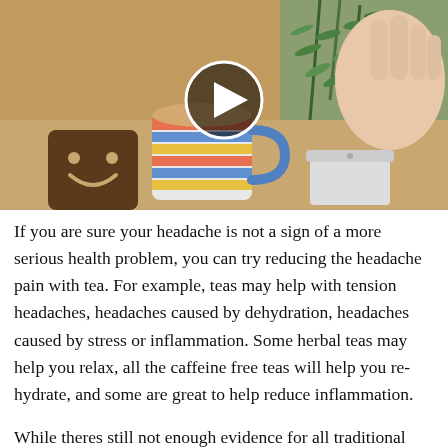[Figure (screenshot): Video thumbnail showing a striped mug with tea, a smiley-face cookie/chocolate, and a hand holding a rosemary sprig, with a play button overlay in the center.]
If you are sure your headache is not a sign of a more serious health problem, you can try reducing the headache pain with tea. For example, teas may help with tension headaches, headaches caused by dehydration, headaches caused by stress or inflammation. Some herbal teas may help you relax, all the caffeine free teas will help you re-hydrate, and some are great to help reduce inflammation.
While theres still not enough evidence for all traditional uses of thousands of plants and herbs, you may expect benefit from...